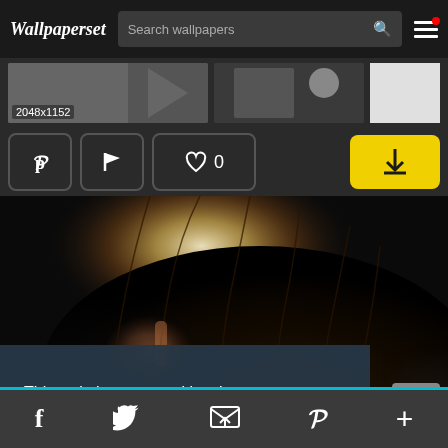Wallpaperset
Search wallpapers
2048x1152
[Figure (screenshot): Action buttons: Pinterest share, flag, heart/like with count 0, and yellow download button]
[Figure (photo): Close-up photo of a person with long dark hair, dramatic lighting, rock music style]
This website uses cookies. Learn more
Social media icons: Facebook, Twitter, Email, Pinterest, Plus